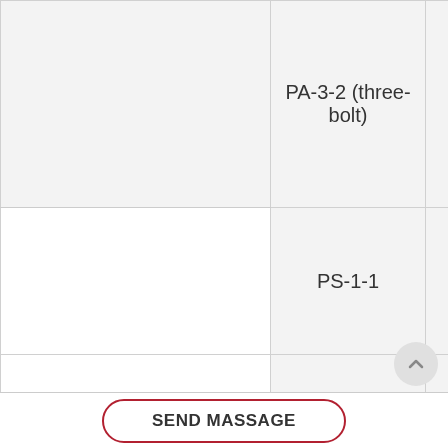| [image] | Model | [image] | Specs |
| --- | --- | --- | --- |
| [loading] | PA-3-2 (three-bolt) |  | 95-120 Al/ 120 Al |
|  | PS-1-1 |  | D = 5,5-8 (steel) |
| [loading] | PS-2-1 |  | D = 9,1-12 (steel) |
SEND MASSAGE